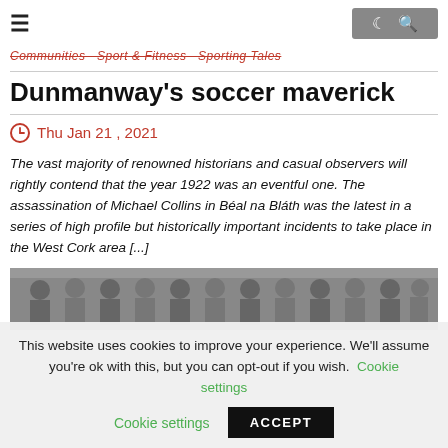☰   🌙  🔍
Communities · Sport & Fitness · Sporting Tales
Dunmanway's soccer maverick
Thu Jan 21 , 2021
The vast majority of renowned historians and casual observers will rightly contend that the year 1922 was an eventful one. The assassination of Michael Collins in Béal na Bláth was the latest in a series of high profile but historically important incidents to take place in the West Cork area [...]
[Figure (photo): Black and white photograph of a group of people, partially visible at bottom of page]
This website uses cookies to improve your experience. We'll assume you're ok with this, but you can opt-out if you wish. Cookie settings ACCEPT